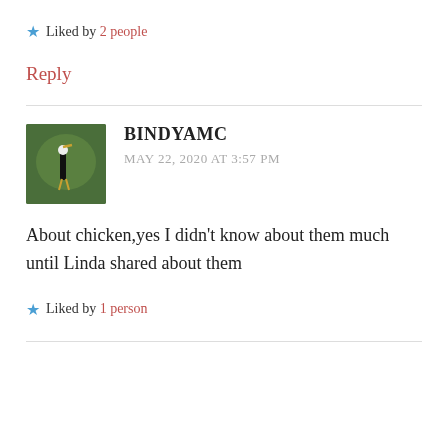Liked by 2 people
Reply
BINDYAMC
MAY 22, 2020 AT 3:57 PM
About chicken,yes I didn't know about them much until Linda shared about them
Liked by 1 person